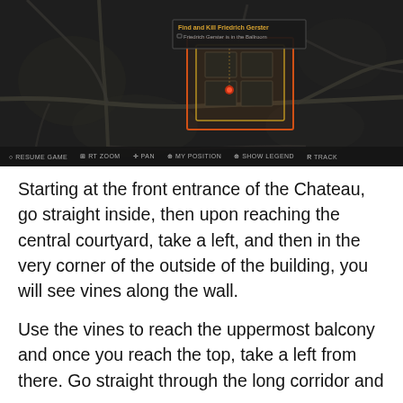[Figure (screenshot): In-game map screenshot showing a dark overhead map of a chateau area with roads and paths visible. An orange/red highlighted rectangle marks the Chateau building. A tooltip in the upper center reads 'Find and Kill Friedrich Gerster' with subtitle 'Friedrich Gerster is in the Ballroom'. Bottom HUD bar shows controls: RESUME GAME, RT ZOOM, PAN, MY POSITION, SHOW LEGEND, TRACK.]
Starting at the front entrance of the Chateau, go straight inside, then upon reaching the central courtyard, take a left, and then in the very corner of the outside of the building, you will see vines along the wall.
Use the vines to reach the uppermost balcony and once you reach the top, take a left from there. Go straight through the long corridor and